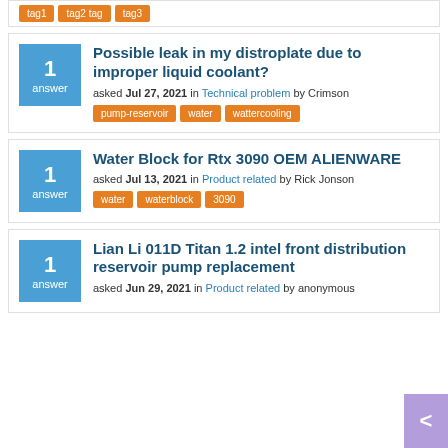Possible leak in my distroplate due to improper liquid coolant? asked Jul 27, 2021 in Technical problem by Crimson. Tags: pump-reservoir, water, wattercooling. 1 answer.
Water Block for Rtx 3090 OEM ALIENWARE. asked Jul 13, 2021 in Product related by Rick Jonson. Tags: water, waterblock, 3090. 1 answer.
Lian Li 011D Titan 1.2 intel front distribution reservoir pump replacement. asked Jun 29, 2021 in Product related by anonymous. 1 answer.